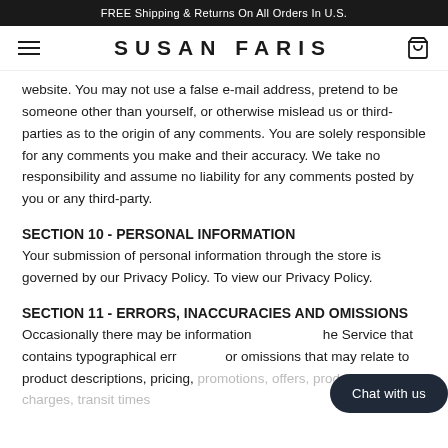FREE Shipping & Returns On All Orders In U.S.
[Figure (logo): Susan Faris brand logo with hamburger menu and cart icon]
website. You may not use a false e-mail address, pretend to be someone other than yourself, or otherwise mislead us or third-parties as to the origin of any comments. You are solely responsible for any comments you make and their accuracy. We take no responsibility and assume no liability for any comments posted by you or any third-party.
SECTION 10 - PERSONAL INFORMATION
Your submission of personal information through the store is governed by our Privacy Policy. To view our Privacy Policy.
SECTION 11 - ERRORS, INACCURACIES AND OMISSIONS
Occasionally there may be information on the Service that contains typographical errors, or omissions that may relate to product descriptions, pricing, promotions, offers, product shipping charges, transit times